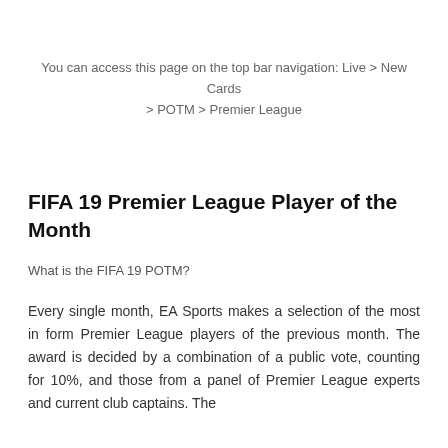You can access this page on the top bar navigation: Live > New Cards > POTM > Premier League
FIFA 19 Premier League Player of the Month
What is the FIFA 19 POTM?
Every single month, EA Sports makes a selection of the most in form Premier League players of the previous month. The award is decided by a combination of a public vote, counting for 10%, and those from a panel of Premier League experts and current club captains. The